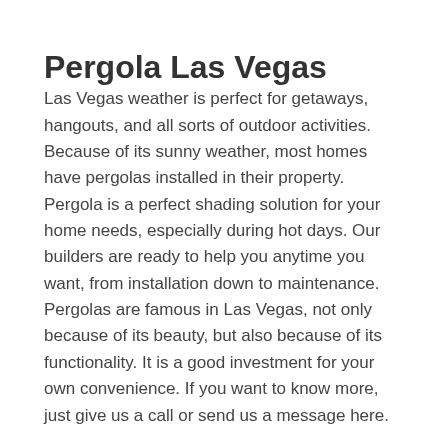Pergola Las Vegas
Las Vegas weather is perfect for getaways, hangouts, and all sorts of outdoor activities. Because of its sunny weather, most homes have pergolas installed in their property. Pergola is a perfect shading solution for your home needs, especially during hot days. Our builders are ready to help you anytime you want, from installation down to maintenance. Pergolas are famous in Las Vegas, not only because of its beauty, but also because of its functionality. It is a good investment for your own convenience. If you want to know more, just give us a call or send us a message here.